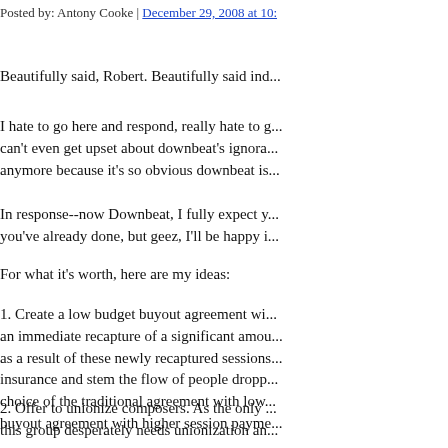Posted by: Antony Cooke | December 29, 2008 at 10:...
Beautifully said, Robert. Beautifully said ind...
I hate to go here and respond, really hate to g... can't even get upset about downbeat's ignora... anymore because it's so obvious downbeat is...
In response--now Downbeat, I fully expect y... you've already done, but geez, I'll be happy i...
For what it's worth, here are my ideas:
1. Create a low budget buyout agreement wi... an immediate recapture of a significant amou... as a result of these newly recaptured sessions... insurance and stem the flow of people dropp... choice of the traditional agreement with low... buyout agreement with higher session payme...
2. Offer to unionize composers. As the only ... this group desperately needs unionization an... it, and the new revenues to the AFM would b...
3. Create a steering committee of AFM and ... all agreements will have to be hammered out...